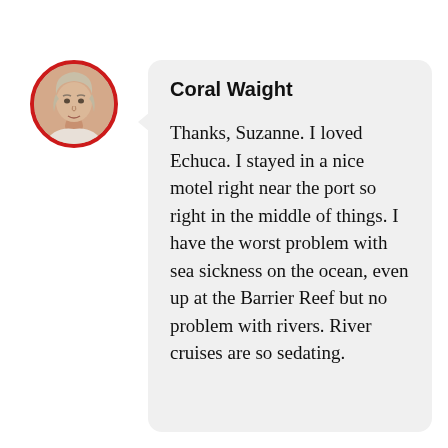[Figure (photo): Circular avatar photo of a woman with short gray-blonde hair, framed with a red circular border.]
Coral Waight
Thanks, Suzanne. I loved Echuca. I stayed in a nice motel right near the port so right in the middle of things. I have the worst problem with sea sickness on the ocean, even up at the Barrier Reef but no problem with rivers. River cruises are so sedating.